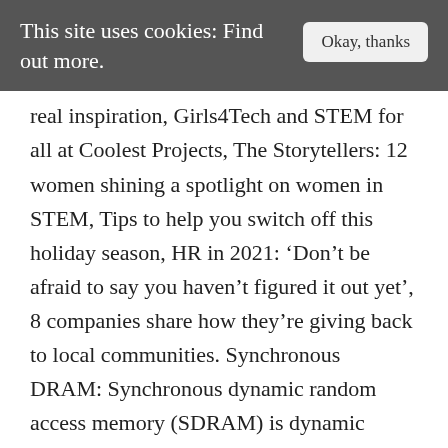This site uses cookies: Find out more.
real inspiration, Girls4Tech and STEM for all at Coolest Projects, The Storytellers: 12 women shining a spotlight on women in STEM, Tips to help you switch off this holiday season, HR in 2021: ‘Don’t be afraid to say you haven’t figured it out yet’, 8 companies share how they’re giving back to local communities. Synchronous DRAM: Synchronous dynamic random access memory (SDRAM) is dynamic random access memory (DRAM) with an interface synchronous with the system bus carrying data between the CPU and the memory controller hub. Related: remote